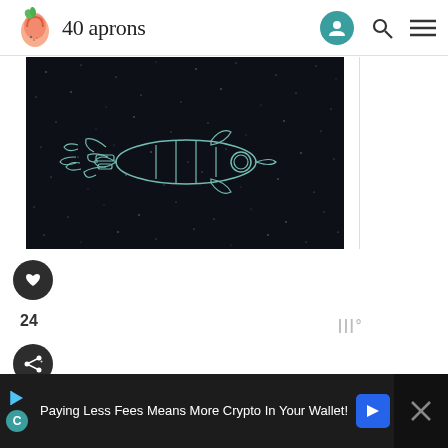40 aprons
[Figure (illustration): Dark space-themed illustration with a glowing teal/cyan line-art rocket or spacecraft on a dark near-black starry background]
24
Instructions
Paying Less Fees Means More Crypto In Your Wallet!